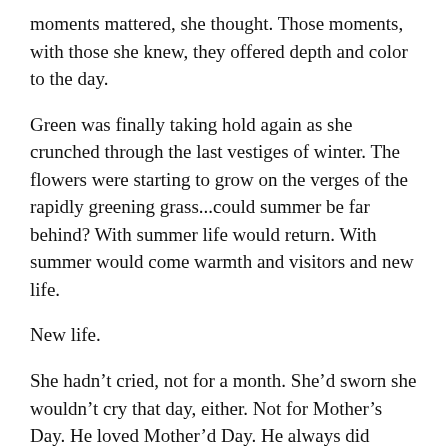moments mattered, she thought.  Those moments, with those she knew, they offered depth and color to the day.
Green was finally taking hold again as she crunched through the last vestiges of winter.  The flowers were starting to grow on the verges of the rapidly greening grass...could summer be far behind?  With summer life would return.  With summer would come warmth and visitors and new life.
New life.
She hadn’t cried, not for a month.  She’d sworn she wouldn’t cry that day, either.  Not for Mother’s Day.  He loved Mother’d Day.  He always did something special, even when he didn’t have the time or the money.  She wouldn’t ruin that; she wouldn’t cry.